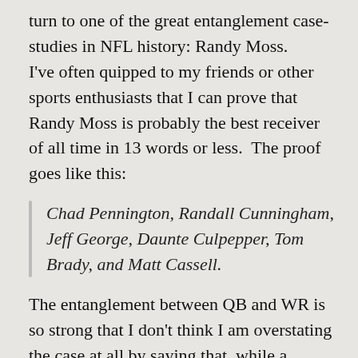turn to one of the great entanglement case-studies in NFL history: Randy Moss.
I've often quipped to my friends or other sports enthusiasts that I can prove that Randy Moss is probably the best receiver of all time in 13 words or less.  The proof goes like this:
Chad Pennington, Randall Cunningham, Jeff George, Daunte Culpepper, Tom Brady, and Matt Cassell.
The entanglement between QB and WR is so strong that I don't think I am overstating the case at all by saying that, while a receiver needs a good quarterback to throw to him, ultimately his skill-level may have more impact on his quarterback's statistics than on his own.  This is especially true when coaches or defenses key on him, which may open up the field